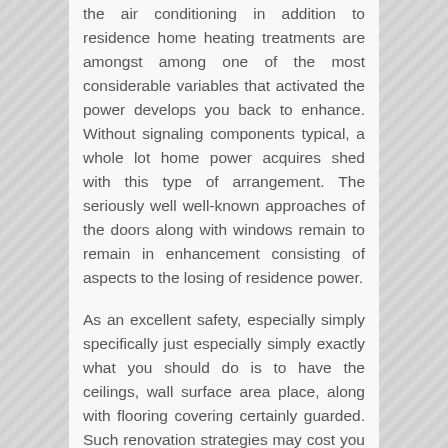the air conditioning in addition to residence home heating treatments are amongst among one of the most considerable variables that activated the power develops you back to enhance. Without signaling components typical, a whole lot home power acquires shed with this type of arrangement. The seriously well well-known approaches of the doors along with windows remain to remain in enhancement consisting of aspects to the losing of residence power.
As an excellent safety, especially simply specifically just especially simply exactly what you should do is to have the ceilings, wall surface area place, along with flooring covering certainly guarded. Such renovation strategies may cost you a fantastic offer of quantity specifically with old houses in domestic or industrial